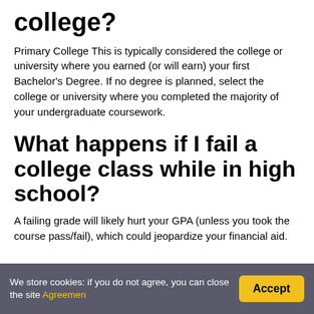college?
Primary College This is typically considered the college or university where you earned (or will earn) your first Bachelor’s Degree. If no degree is planned, select the college or university where you completed the majority of your undergraduate coursework.
What happens if I fail a college class while in high school?
A failing grade will likely hurt your GPA (unless you took the course pass/fail), which could jeopardize your financial aid.
We store cookies: if you do not agree, you can close the site Agreemen